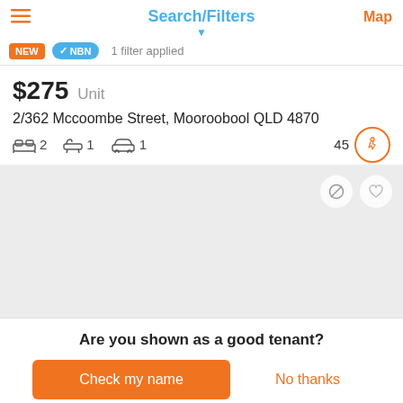Search/Filters
Map
NEW  NBN  1 filter applied
$275  Unit
2/362 Mccoombe Street, Mooroobool QLD 4870
2 bedrooms, 1 bathroom, 1 car space, walk score 45
[Figure (photo): Grey placeholder property photo area with action icons]
Are you shown as a good tenant?
Check my name
No thanks